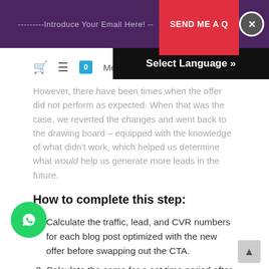---------Introduce Your Email Here! --  SEND ME A Q  ×
Select Language »
However, there have been times when the offer did not perform as expected. When that was the case, we reverted the changes and went back to the drawing board – equipped with the knowledge of what didn't work, which helped us determine what would help us generate more leads in the future.
How to complete this step:
Calculate the traffic, lead, and CVR numbers for each blog post optimized with the new offer before swapping out the CTA.
Calculate the same for a set time period after the CTAs were swapped.
Calculate the difference in leads and in CVR for each blog p...